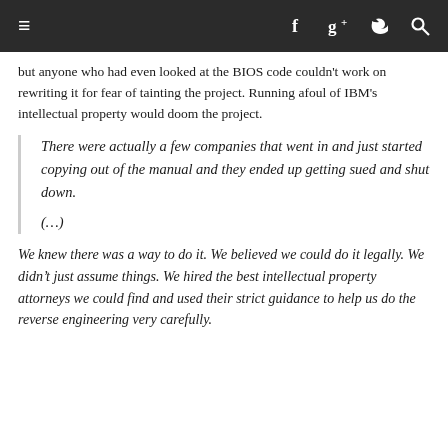≡  f  g+  🐦  🔍
but anyone who had even looked at the BIOS code couldn't work on rewriting it for fear of tainting the project. Running afoul of IBM's intellectual property would doom the project.
There were actually a few companies that went in and just started copying out of the manual and they ended up getting sued and shut down.
(…)
We knew there was a way to do it. We believed we could do it legally. We didn't just assume things. We hired the best intellectual property attorneys we could find and used their strict guidance to help us do the reverse engineering very carefully.